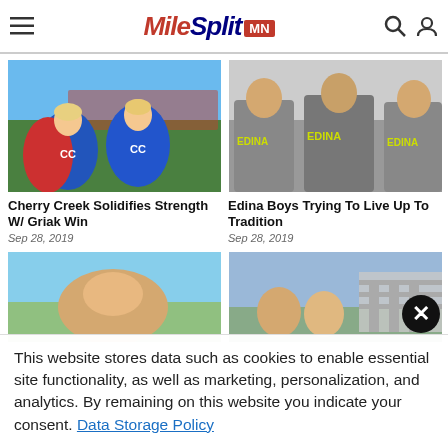MileSplit MN
[Figure (photo): Girls cross country runners in blue CC uniforms smiling outdoors]
Cherry Creek Solidifies Strength W/ Griak Win
Sep 28, 2019
[Figure (photo): Boys in gray Edina cross country shirts with arms around each other]
Edina Boys Trying To Live Up To Tradition
Sep 28, 2019
[Figure (photo): Partially visible photo with blue sky background]
[Figure (photo): Partially visible photo with blue sky and structure background]
This website stores data such as cookies to enable essential site functionality, as well as marketing, personalization, and analytics. By remaining on this website you indicate your consent. Data Storage Policy